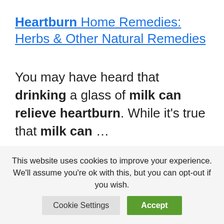Heartburn Home Remedies: Herbs & Other Natural Remedies
You may have heard that drinking a glass of milk can relieve heartburn. While it's true that milk can …
GERD Diet: Foods That Help with Acid Reflux (Heartburn) | Johns …
Milk. Does milk help with
This website uses cookies to improve your experience. We'll assume you're ok with this, but you can opt-out if you wish.